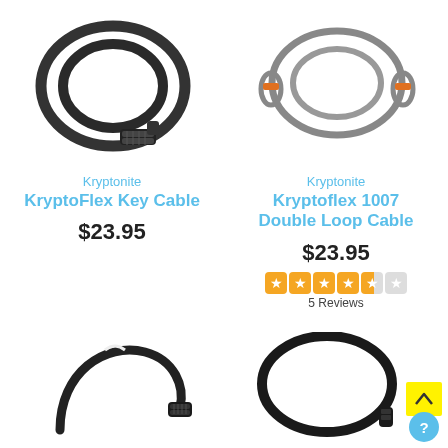[Figure (photo): Kryptonite KryptoFlex Key Cable bike lock coiled black combination cable lock]
Kryptonite
KryptoFlex Key Cable
$23.95
[Figure (photo): Kryptonite Kryptoflex 1007 Double Loop Cable with orange end loops]
Kryptonite
Kryptoflex 1007 Double Loop Cable
$23.95
[Figure (infographic): Star rating: approximately 3.5 out of 5 stars (orange stars)]
5 Reviews
[Figure (photo): Bottom-left partial image of a small combination cable bike lock]
[Figure (photo): Bottom-right partial image of a round cable bike lock]